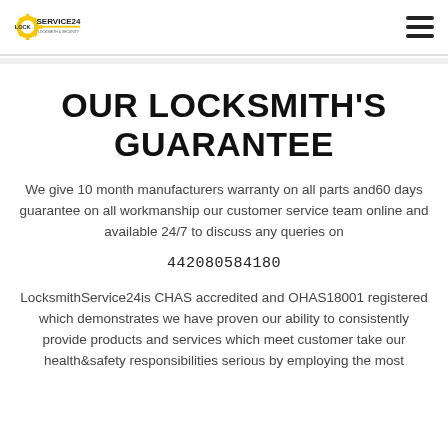[Figure (logo): LockSmithService24 logo with gear icon and yellow/black text]
OUR LOCKSMITH'S GUARANTEE
We give 10 month manufacturers warranty on all parts and60 days guarantee on all workmanship our customer service team online and available 24/7 to discuss any queries on
442080584180
LocksmithService24is CHAS accredited and OHAS18001 registered which demonstrates we have proven our ability to consistently provide products and services which meet customer take our health & safety responsibilities serious by employing the most